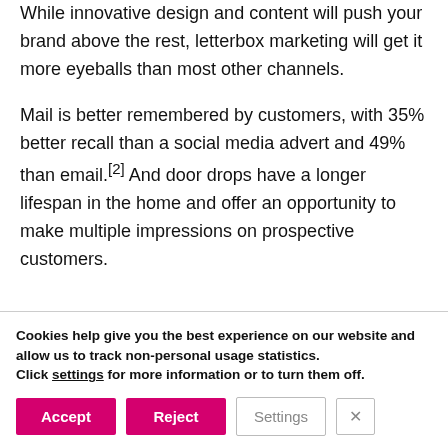While innovative design and content will push your brand above the rest, letterbox marketing will get it more eyeballs than most other channels.
Mail is better remembered by customers, with 35% better recall than a social media advert and 49% than email.[2] And door drops have a longer lifespan in the home and offer an opportunity to make multiple impressions on prospective customers.
A door...
Cookies help give you the best experience on our website and allow us to track non-personal usage statistics. Click settings for more information or to turn them off.